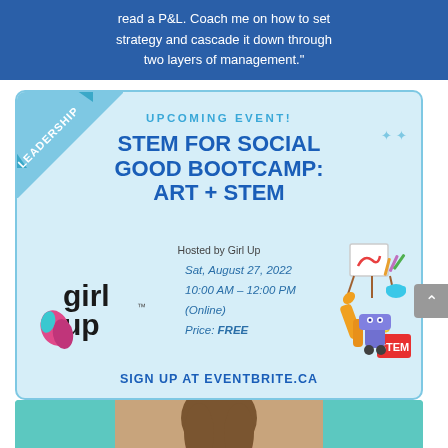read a P&L. Coach me on how to set strategy and cascade it down through two layers of management."
[Figure (infographic): Event flyer for STEM for Social Good Bootcamp: Art + STEM, hosted by Girl Up. Light blue background card with leadership ribbon in top-left corner. Shows Girl Up logo, event date Sat August 27 2022, time 10:00 AM - 12:00 PM (Online), Price: FREE, Sign up at eventbrite.ca. Decorated with art easel and robot illustrations.]
[Figure (photo): Bottom strip showing a woman with brown hair smiling, flanked by teal/turquoise colored panels.]